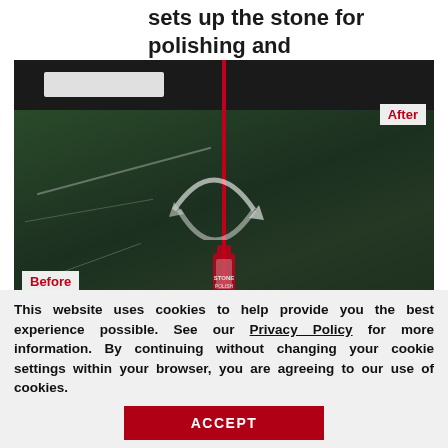sets up the stone for polishing and shining.
[Figure (photo): Before and after comparison photo of a granite kitchen countertop being polished. Left side labeled 'Before' shows dull green/black granite; right side labeled 'After' shows shiny polished granite. A red vertical divider splits the image. A product bottle and circular arrow overlay appear in the center. A red 'Request a Free' popup appears at the bottom right.]
This website uses cookies to help provide you the best experience possible. See our Privacy Policy for more information. By continuing without changing your cookie settings within your browser, you are agreeing to our use of cookies.